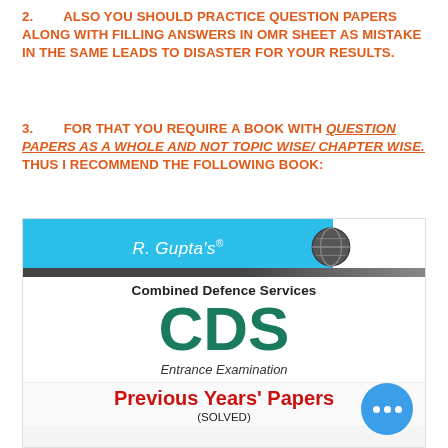2. ALSO YOU SHOULD PRACTICE QUESTION PAPERS ALONG WITH FILLING ANSWERS IN OMR SHEET AS MISTAKE IN THE SAME LEADS TO DISASTER FOR YOUR RESULTS.
3. FOR THAT YOU REQUIRE A BOOK WITH QUESTION PAPERS AS A WHOLE AND NOT TOPIC WISE/ CHAPTER WISE. THUS I RECOMMEND THE FOLLOWING BOOK:
[Figure (photo): Cover image of R. Gupta's Combined Defence Services CDS Entrance Examination Previous Years' Papers (Solved) book]